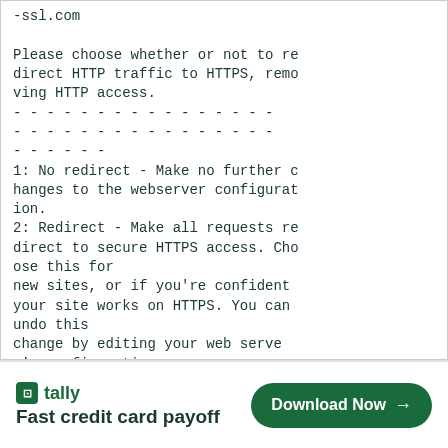-ssl.com

Please choose whether or not to redirect HTTP traffic to HTTPS, removing HTTP access.
- - - - - - - - - - - - - - - -
- - - - - - - - - - - - - - - -
- - - - - -
1: No redirect - Make no further changes to the webserver configuration.
2: Redirect - Make all requests redirect to secure HTTPS access. Choose this for
new sites, or if you're confident your site works on HTTPS. You can undo this
change by editing your web server's configuration.
- - - - - - - - - - - - - -
[Figure (other): Advertisement banner for Tally app - Fast credit card payoff, with Download Now button]